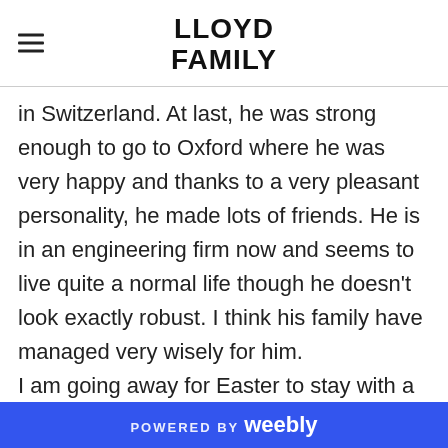LLOYD FAMILY
in Switzerland. At last, he was strong enough to go to Oxford where he was very happy and thanks to a very pleasant personality, he made lots of friends. He is in an engineering firm now and seems to live quite a normal life though he doesn't look exactly robust. I think his family have managed very wisely for him. I am going away for Easter to stay with a Mrs. Borrows in Bucks. I don't know her, but she is a friend of Cousin Julius and hearing that I had been ill, she very kindly wrote and asked me if I
POWERED BY weebly